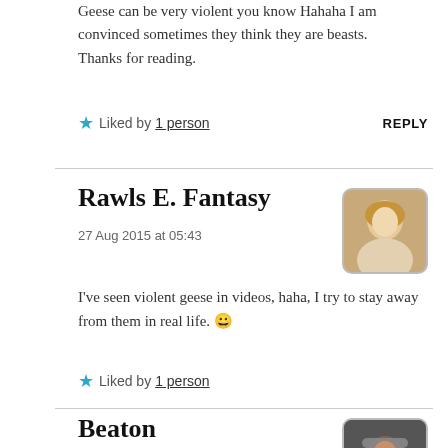Geese can be very violent you know Hahaha I am convinced sometimes they think they are beasts.
Thanks for reading.
★ Liked by 1 person   REPLY
Rawls E. Fantasy
27 Aug 2015 at 05:43
[Figure (photo): Small profile photo of Rawls E. Fantasy, showing a woman with blonde hair]
I've seen violent geese in videos, haha, I try to stay away from them in real life. 😀
★ Liked by 1 person
Beaton
27 Aug 2015 at 09:08
[Figure (photo): Small profile photo of Beaton, showing a person with a hat]